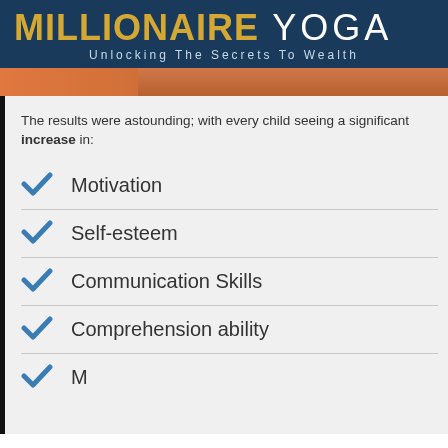MILLIONAIRE YOGA — Unlocking The Secrets To Wealth
The results were astounding; with every child seeing an increase in:
Motivation
Self-esteem
Communication Skills
Comprehension ability
M...